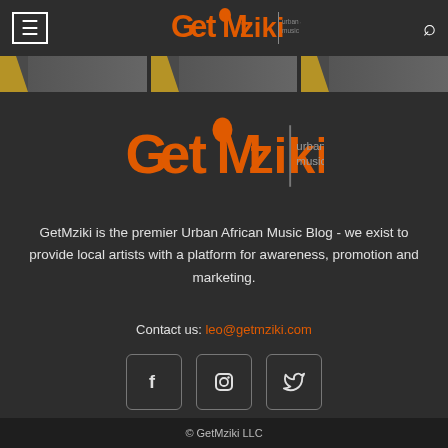Navigation bar with hamburger menu, GetMziki logo, and search icon
[Figure (illustration): Horizontal image strip with three segmented photo thumbnails showing African-patterned decorative borders]
[Figure (logo): GetMziki logo - urban africa music, centered, in orange on dark background]
GetMziki is the premier Urban African Music Blog - we exist to provide local artists with a platform for awareness, promotion and marketing.
Contact us: leo@getmziki.com
[Figure (infographic): Three social media icon buttons: Facebook (f), Instagram, and Twitter bird icon]
© GetMziki LLC